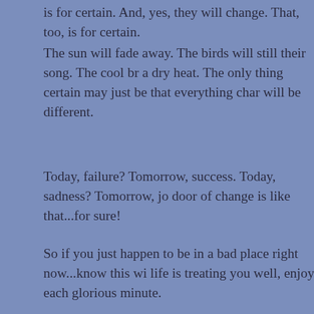is for certain. And, yes, they will change. That, too, is for certain.
The sun will fade away. The birds will still their song. The cool br... a dry heat. The only thing certain may just be that everything cha... will be different.
Today, failure? Tomorrow, success. Today, sadness? Tomorrow, jo... door of change is like that...for sure!
So if you just happen to be in a bad place right now...know this wi... life is treating you well, enjoy each glorious minute.
Posted by cherrl doty at 5:54 PM   No comments
Wednesday, March 24, 2021